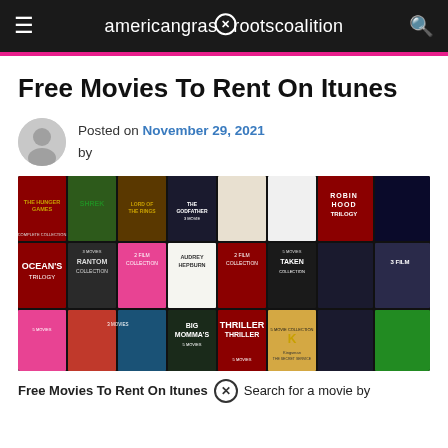americangrassrootscoalition
Free Movies To Rent On Itunes
Posted on November 29, 2021 by
[Figure (screenshot): Grid of movie collection covers including The Hunger Games, Shrek, Lord of the Rings, Ocean's Trilogy, Audrey Hepburn, Taken Collection, Thriller, Kingsman, and others on a dark background]
Free Movies To Rent On Itunes Search for a movie by